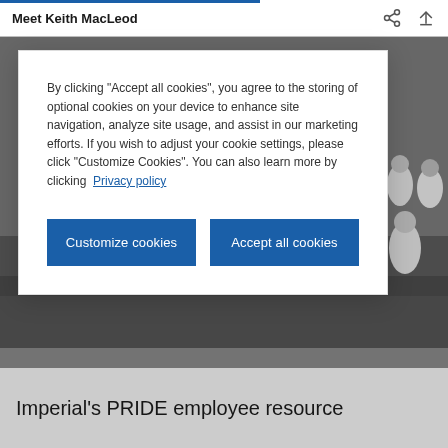Meet Keith MacLeod
By clicking “Accept all cookies”, you agree to the storing of optional cookies on your device to enhance site navigation, analyze site usage, and assist in our marketing efforts. If you wish to adjust your cookie settings, please click “Customize Cookies”. You can also learn more by clicking  Privacy policy
[Figure (photo): Group photo of many people in white shirts and colorful attire, posing together outdoors for what appears to be a Pride event]
Imperial’s PRIDE employee resource